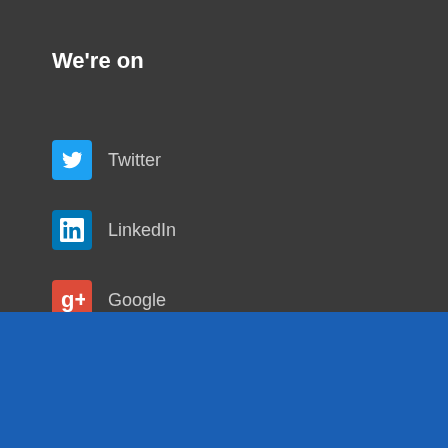We're on
Twitter
LinkedIn
Google
We're trusted
You Have 0 Pending Request
COMPLETE YOUR REQUEST